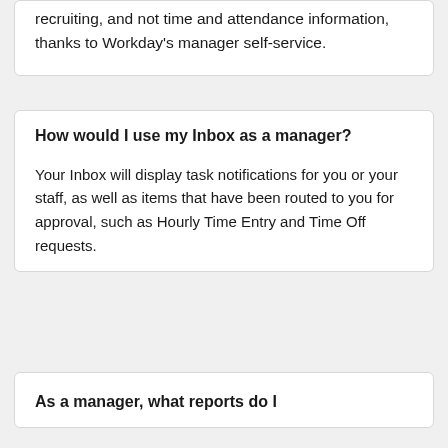recruiting, and not time and attendance information, thanks to Workday's manager self-service.
How would I use my Inbox as a manager?
Your Inbox will display task notifications for you or your staff, as well as items that have been routed to you for approval, such as Hourly Time Entry and Time Off requests.
As a manager, what reports do I